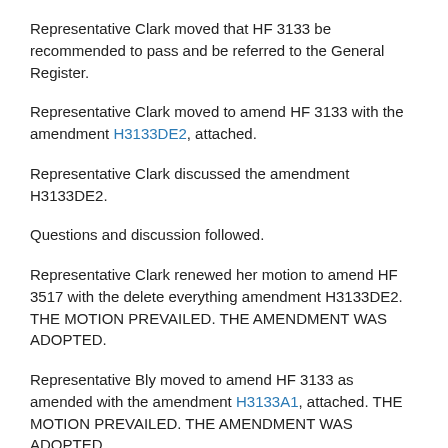Representative Clark moved that HF 3133 be recommended to pass and be referred to the General Register.
Representative Clark moved to amend HF 3133 with the amendment H3133DE2, attached.
Representative Clark discussed the amendment H3133DE2.
Questions and discussion followed.
Representative Clark renewed her motion to amend HF 3517 with the delete everything amendment H3133DE2. THE MOTION PREVAILED. THE AMENDMENT WAS ADOPTED.
Representative Bly moved to amend HF 3133 as amended with the amendment H3133A1, attached. THE MOTION PREVAILED. THE AMENDMENT WAS ADOPTED.
Representative Loeffler presented HF 3133 as amended, relating to employment; providing for workers' compensation benefits for domestic partners; including domestic partners of